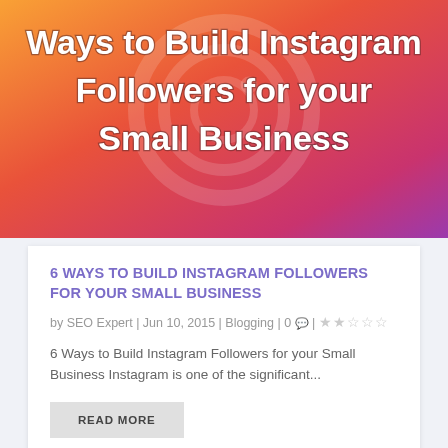[Figure (infographic): Instagram gradient banner with white outlined text reading '6 Ways to Build Instagram Followers for your Small Business' on orange-to-pink/purple gradient background with Instagram logo watermark]
6 WAYS TO BUILD INSTAGRAM FOLLOWERS FOR YOUR SMALL BUSINESS
by SEO Expert | Jun 10, 2015 | Blogging | 0 | ★★☆☆☆
6 Ways to Build Instagram Followers for your Small Business Instagram is one of the significant...
READ MORE
[Figure (infographic): Orange number '4' with a plus sign, and an orange upward arrow on the right side, with partial text 'Integral Steps to Build' visible at the bottom]
Integral Steps to Build